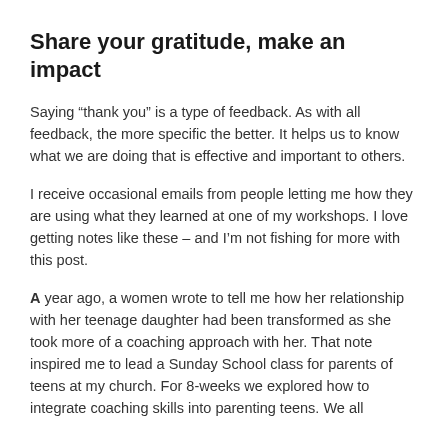Share your gratitude, make an impact
Saying “thank you” is a type of feedback. As with all feedback, the more specific the better. It helps us to know what we are doing that is effective and important to others.
I receive occasional emails from people letting me how they are using what they learned at one of my workshops. I love getting notes like these – and I’m not fishing for more with this post.
A year ago, a women wrote to tell me how her relationship with her teenage daughter had been transformed as she took more of a coaching approach with her. That note inspired me to lead a Sunday School class for parents of teens at my church. For 8-weeks we explored how to integrate coaching skills into parenting teens. We all